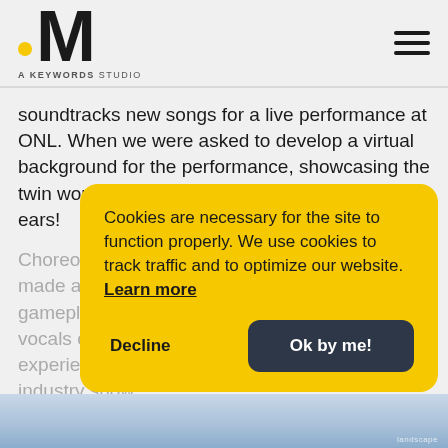M — A KEYWORDS STUDIO
soundtracks new songs for a live performance at ONL. When we were asked to develop a virtual background for the performance, showcasing the twin worlds of Dahna and Rena was music to our ears!
Choreographed game capture set to the tailor made audio helps to explain the setting, gameplay and teases the narrative, all with no vocals or captions resulting in a global experience for one of the world's biggest games industry show.
Cookies are necessary for the site to function properly. We use cookies to track traffic and to optimize our website. Learn more
Decline
Ok by me!
[Figure (photo): Bottom image strip showing a blue/grey mountainous or landscape scene]